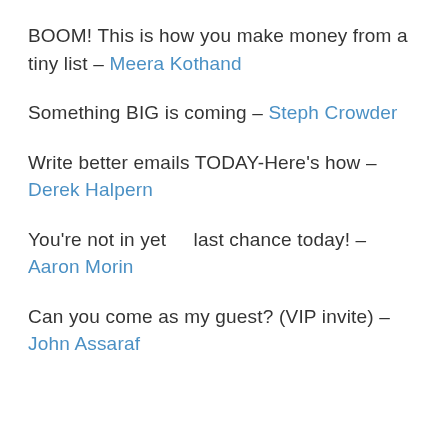BOOM! This is how you make money from a tiny list – Meera Kothand
Something BIG is coming – Steph Crowder
Write better emails TODAY-Here's how – Derek Halpern
You're not in yet    last chance today! – Aaron Morin
Can you come as my guest? (VIP invite) – John Assaraf